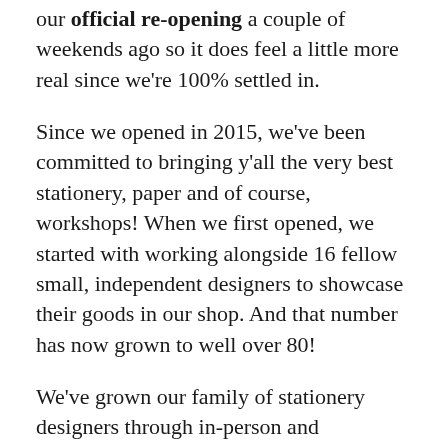our official re-opening a couple of weekends ago so it does feel a little more real since we're 100% settled in.
Since we opened in 2015, we've been committed to bringing y'all the very best stationery, paper and of course, workshops! When we first opened, we started with working alongside 16 fellow small, independent designers to showcase their goods in our shop. And that number has now grown to well over 80!
We've grown our family of stationery designers through in-person and Instagram relationships, as well as through our visits to the National Stationery Show. We are so honored to be able to help share the incredible work of fellow creators